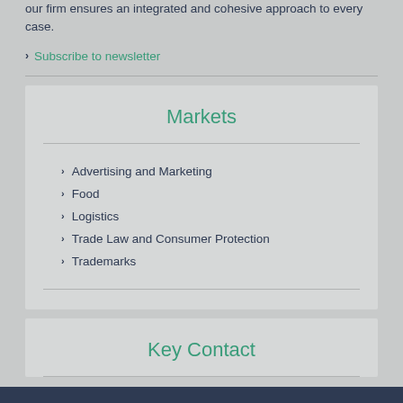our firm ensures an integrated and cohesive approach to every case.
Subscribe to newsletter
Markets
Advertising and Marketing
Food
Logistics
Trade Law and Consumer Protection
Trademarks
Key Contact